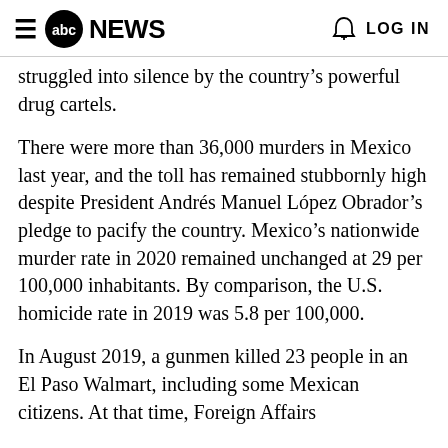abc NEWS  LOG IN
struggled into silence by the country's powerful drug cartels.
There were more than 36,000 murders in Mexico last year, and the toll has remained stubbornly high despite President Andrés Manuel López Obrador's pledge to pacify the country. Mexico's nationwide murder rate in 2020 remained unchanged at 29 per 100,000 inhabitants. By comparison, the U.S. homicide rate in 2019 was 5.8 per 100,000.
In August 2019, a gunmen killed 23 people in an El Paso Walmart, including some Mexican citizens. At that time, Foreign Affairs